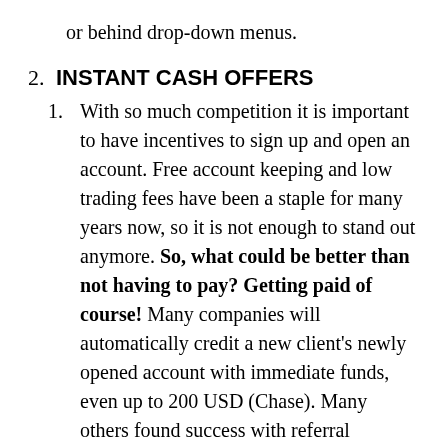or behind drop-down menus.
2. INSTANT CASH OFFERS
1. With so much competition it is important to have incentives to sign up and open an account. Free account keeping and low trading fees have been a staple for many years now, so it is not enough to stand out anymore. So, what could be better than not having to pay? Getting paid of course! Many companies will automatically credit a new client's newly opened account with immediate funds, even up to 200 USD (Chase). Many others found success with referral programs, where both the referrer and the referred get cash bonuses when